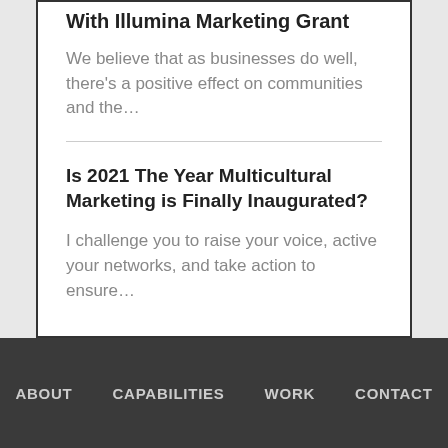With Illumina Marketing Grant
We believe that as businesses do well, there's a positive effect on communities and the…
Is 2021 The Year Multicultural Marketing is Finally Inaugurated?
I challenge you to raise your voice, active your networks, and take action to ensure…
ABOUT   CAPABILITIES   WORK   CONTACT